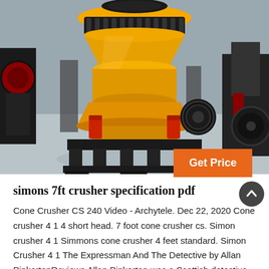[Figure (photo): Large yellow cone crusher machine (Simons/CS type) on a black steel frame base, photographed in an industrial factory/warehouse setting with grey floor. Red hydraulic cylinders visible at the base. Other mining machinery visible in background.]
Get Price
simons 7ft crusher specification pdf
Cone Crusher CS 240 Video - Archytele. Dec 22, 2020 Cone crusher 4 1 4 short head. 7 foot cone crusher cs. Simon crusher 4 1 Simmons cone crusher 4 feet standard. Simon Crusher 4 1 The Expressman And The Detective by Allan PinkertonReviews Allan Pinkerton was a Scottish detective